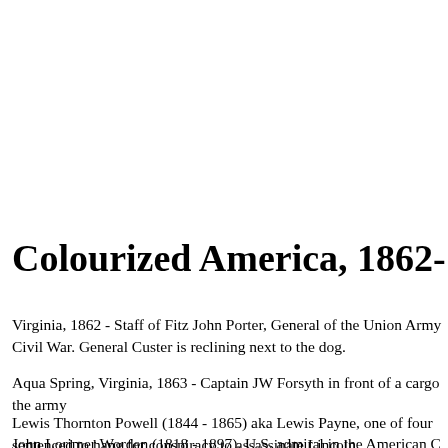Colourized America, 1862-1923
Virginia, 1862 - Staff of Fitz John Porter, General of the Union Army Civil War. General Custer is reclining next to the dog.
Aqua Spring, Virginia, 1863 - Captain JW Forsyth in front of a cargo the army
Lewis Thornton Powell (1844 - 1865) aka Lewis Payne, one of four sentenced to hang for conspiracy to assassinate Lincoln
John Lorimer Worden (1818 - 1897), U.S. admiral in the American C